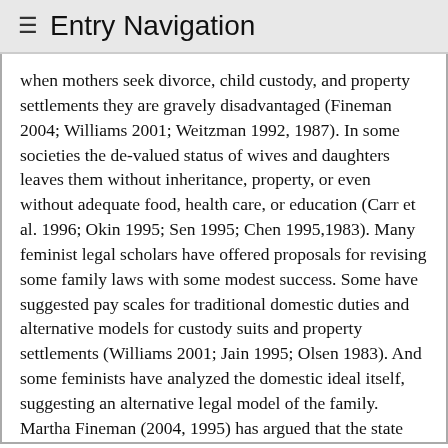≡ Entry Navigation
when mothers seek divorce, child custody, and property settlements they are gravely disadvantaged (Fineman 2004; Williams 2001; Weitzman 1992, 1987). In some societies the de-valued status of wives and daughters leaves them without inheritance, property, or even without adequate food, health care, or education (Carr et al. 1996; Okin 1995; Sen 1995; Chen 1995,1983). Many feminist legal scholars have offered proposals for revising some family laws with some modest success. Some have suggested pay scales for traditional domestic duties and alternative models for custody suits and property settlements (Williams 2001; Jain 1995; Olsen 1983). And some feminists have analyzed the domestic ideal itself, suggesting an alternative legal model of the family. Martha Fineman (2004, 1995) has argued that the state has no reason to reinforce and privilege the sexual family—the sexual relation between a man and a woman that is the traditional basis of marriage as a legal institution. Rather, the care-giving relation is what should be encouraged and supported by the state. One problem with